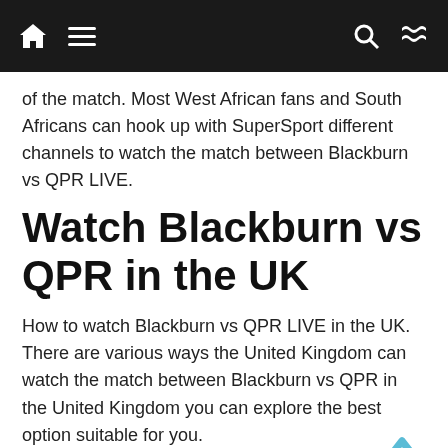Navigation bar with home, menu, search, and shuffle icons
of the match. Most West African fans and South Africans can hook up with SuperSport different channels to watch the match between Blackburn vs QPR LIVE.
Watch Blackburn vs QPR in the UK
How to watch Blackburn vs QPR LIVE in the UK. There are various ways the United Kingdom can watch the match between Blackburn vs QPR in the United Kingdom you can explore the best option suitable for you.
Watch Blackburn vs